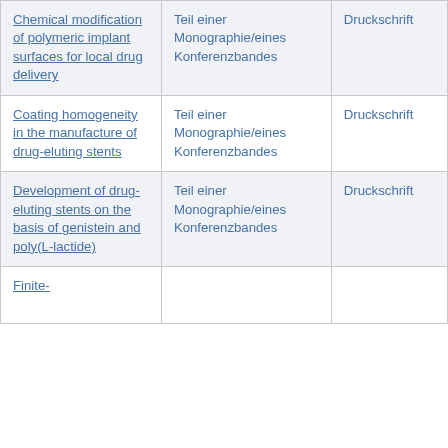| Chemical modification of polymeric implant surfaces for local drug delivery | Teil einer Monographie/eines Konferenzbandes | Druckschrift |
| Coating homogeneity in the manufacture of drug-eluting stents | Teil einer Monographie/eines Konferenzbandes | Druckschrift |
| Development of drug-eluting stents on the basis of genistein and poly(L-lactide) | Teil einer Monographie/eines Konferenzbandes | Druckschrift |
| Finite- |  |  |